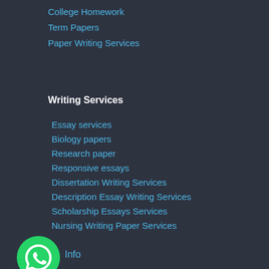College Homework
Term Papers
Paper Writing Services
Writing Services
Essay services
Biology papers
Research paper
Responsive essays
Dissertation Writing Services
Description Essay Writing Services
Scholarship Essays Services
Nursing Writing Paper Services
[Figure (logo): WhatsApp green circle button with phone icon]
Info